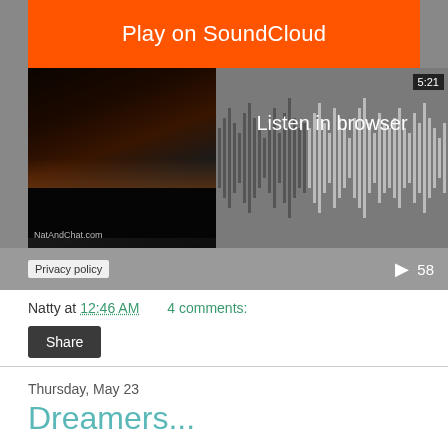[Figure (screenshot): SoundCloud embedded player widget showing 'Play on SoundCloud' orange button, album art of a dark landscape, waveform display, 'Listen in browser' text, time 5:21, play button with count 58, and Privacy policy link]
Natty at 12:46 AM    4 comments:
Share
Thursday, May 23
Dreamers...
I've just discovered a band and song I can't stop playing. I'm such a wordie... often a song or lyric resonates with me, but my conscious mind doesn't always immediately know why.
I've listened to this song countless times, and I have just decided to grab the lyrics and follow.... I'm in awe.
For me, there are so many hidden meanings in this song. I'm